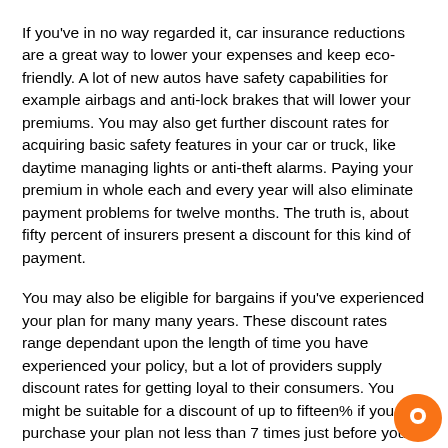If you've in no way regarded it, car insurance reductions are a great way to lower your expenses and keep eco-friendly. A lot of new autos have safety capabilities for example airbags and anti-lock brakes that will lower your premiums. You may also get further discount rates for acquiring basic safety features in your car or truck, like daytime managing lights or anti-theft alarms. Paying your premium in whole each and every year will also eliminate payment problems for twelve months. The truth is, about fifty percent of insurers present a discount for this kind of payment.
You may also be eligible for bargains if you've experienced your plan for many many years. These discount rates range dependant upon the length of time you have experienced your policy, but a lot of providers supply discount rates for getting loyal to their consumers. You might be suitable for a discount of up to fifteen% if you purchase your plan not less than 7 times just before your renewal day. Except for the...